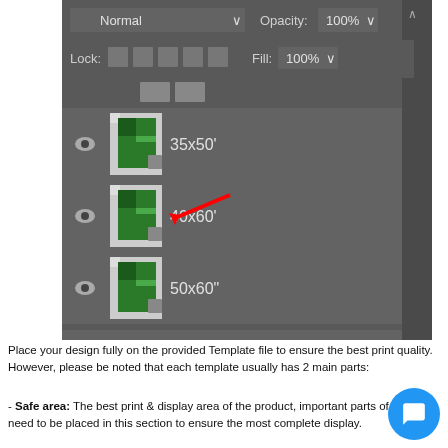[Figure (screenshot): Adobe Photoshop layers panel showing multiple layers named 35x50', 40x60', 50x60", 55x70", 60x80'. The 40x60' layer is highlighted with a red arrow pointing to it. The bottom layer 60x80' is selected/highlighted. Panel shows Normal blend mode, 100% Opacity, Lock options, and 100% Fill.]
Place your design fully on the provided Template file to ensure the best print quality. However, please be noted that each template usually has 2 main parts:
- Safe area: The best print & display area of the product, important parts of a design need to be placed in this section to ensure the most complete display.
- Unsafe area (outside the safe zone, usually displayed in dark gray): This area will still be printed, however, it may be affected by cutting, sewing, or assembling among parts. Therefore, you should